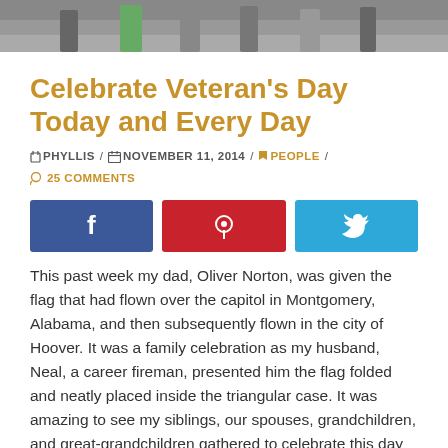[Figure (photo): A group photo strip at the top of the page showing people standing together, partially cropped]
Celebrate Veteran’s Day Today and Every Day
PHYLLIS / NOVEMBER 11, 2014 / PEOPLE / 25 COMMENTS
[Figure (infographic): Three social media share buttons: Facebook (blue), Pinterest (red), Twitter (light blue)]
This past week my dad, Oliver Norton, was given the flag that had flown over the capitol in Montgomery, Alabama, and then subsequently flown in the city of Hoover. It was a family celebration as my husband, Neal, a career fireman, presented him the flag folded and neatly placed inside the triangular case. It was amazing to see my siblings, our spouses, grandchildren, and great-grandchildren gathered to celebrate this day